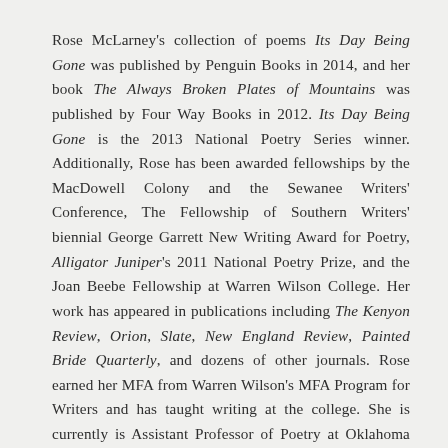Rose McLarney's collection of poems Its Day Being Gone was published by Penguin Books in 2014, and her book The Always Broken Plates of Mountains was published by Four Way Books in 2012. Its Day Being Gone is the 2013 National Poetry Series winner. Additionally, Rose has been awarded fellowships by the MacDowell Colony and the Sewanee Writers' Conference, The Fellowship of Southern Writers' biennial George Garrett New Writing Award for Poetry, Alligator Juniper's 2011 National Poetry Prize, and the Joan Beebe Fellowship at Warren Wilson College. Her work has appeared in publications including The Kenyon Review, Orion, Slate, New England Review, Painted Bride Quarterly, and dozens of other journals. Rose earned her MFA from Warren Wilson's MFA Program for Writers and has taught writing at the college. She is currently is Assistant Professor of Poetry at Oklahoma State University.